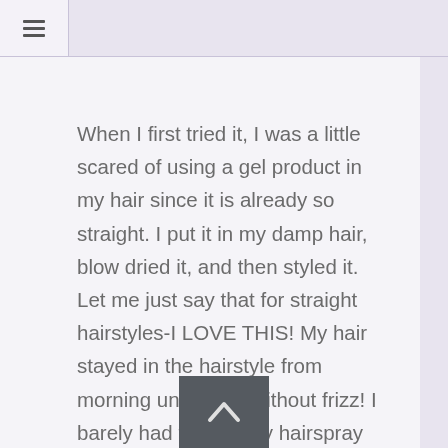≡
When I first tried it, I was a little scared of using a gel product in my hair since it is already so straight. I put it in my damp hair, blow dried it, and then styled it. Let me just say that for straight hairstyles-I LOVE THIS! My hair stayed in the hairstyle from morning until night-without frizz! I barely had to use any hairspray either! It is perfect for ponytials-just dab a litte on the sides for a perfect shiny hold. I even used it in my hair before I curled it and the curls stayed without hairspry! I have been using it ever since I got